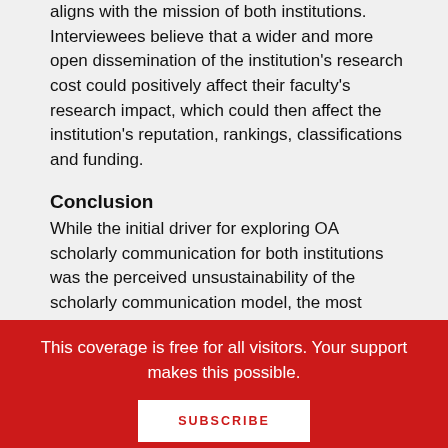aligns with the mission of both institutions. Interviewees believe that a wider and more open dissemination of the institution's research cost could positively affect their faculty's research impact, which could then affect the institution's reputation, rankings, classifications and funding.
Conclusion
While the initial driver for exploring OA scholarly communication for both institutions was the perceived unsustainability of the scholarly communication model, the most important factor that led to the creation of their policies was the desire to disseminate
This coverage is free for all visitors. Your support makes this possible.
SUBSCRIBE